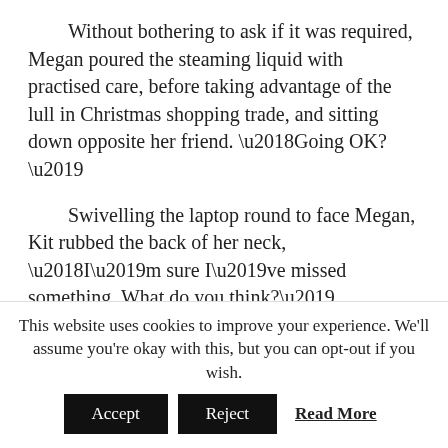Without bothering to ask if it was required, Megan poured the steaming liquid with practised care, before taking advantage of the lull in Christmas shopping trade, and sitting down opposite her friend. ‘Going OK?’
Swivelling the laptop round to face Megan, Kit rubbed the back of her neck, ‘I’m sure I’ve missed something. What do you think?’
Pickwicks Festive Fundraiser!
Spoil Yourself With An Afternoon of Pickwicks’ Finest Festive Fare.
In Aid of the Royal Free Hospital’s Spinal Ward.
This website uses cookies to improve your experience. We'll assume you're okay with this, but you can opt-out if you wish.
Accept   Reject   Read More